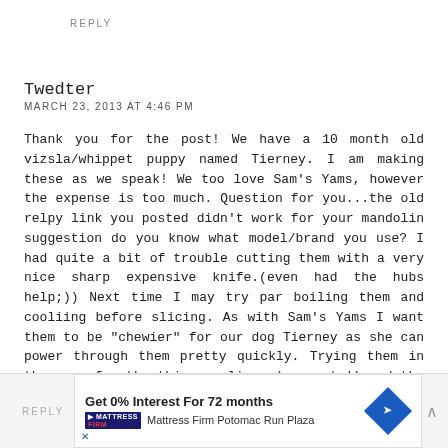REPLY
Twedter
MARCH 23, 2013 AT 4:46 PM
Thank you for the post! We have a 10 month old vizsla/whippet puppy named Tierney. I am making these as we speak! We too love Sam's Yams, however the expense is too much. Question for you...the old relpy link you posted didn't work for your mandolin suggestion do you know what model/brand you use? I had quite a bit of trouble cutting them with a very nice sharp expensive knife.(even had the hubs help;)) Next time I may try par boiling them and cooliing before slicing. As with Sam's Yams I want them to be "chewier" for our dog Tierney as she can power through them pretty quickly. Trying them in the oven for the thinner slices (no waste!) and the dehydrator for the thicker ones. Thanks for the freezer tip!
REPLY | Get 0% Interest For 72 months | Mattress Firm Potomac Run Plaza